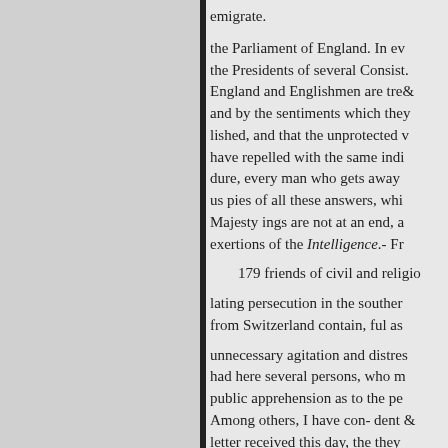emigrate.
the Parliament of England. In ev the Presidents of several Consist England and Englishmen are tre and by the sentiments which they lished, and that the unprotected v have repelled with the same indi dure, every man who gets away us pies of all these answers, whi Majesty ings are not at an end, a exertions of the Intelligence.- Fr
179 friends of civil and religio
lating persecution in the souther from Switzerland contain, ful as
unnecessary agitation and distres had here several persons, who m public apprehension as to the pe Among others, I have con- dent letter received this day, the they extremely critical; they de- " I re confirming the frighful accounts mamisconduct on their part, but